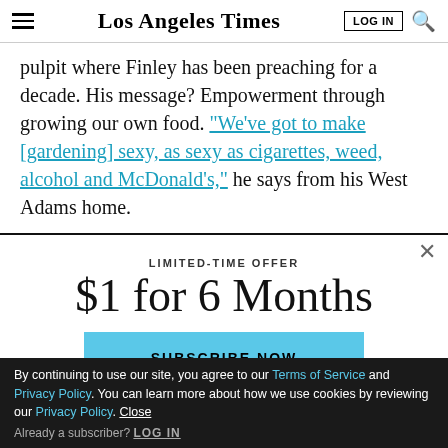Los Angeles Times
pulpit where Finley has been preaching for a decade. His message? Empowerment through growing our own food. “We’ve got to make [gardening] sexy, as sexy as cigarettes, weed, alcohol and McDonald’s,” he says from his West Adams home.
LIMITED-TIME OFFER
$1 for 6 Months
SUBSCRIBE NOW
By continuing to use our site, you agree to our Terms of Service and Privacy Policy. You can learn more about how we use cookies by reviewing our Privacy Policy. Close
Already a subscriber? LOG IN